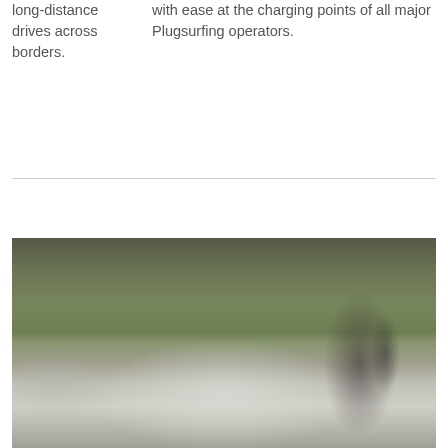long-distance drives across borders.
with ease at the charging points of all major Plugsurfing operators.
[Figure (photo): A blurry photo of a white electric car at a charging station, with green trees in the background and a charging point visible on the right side.]